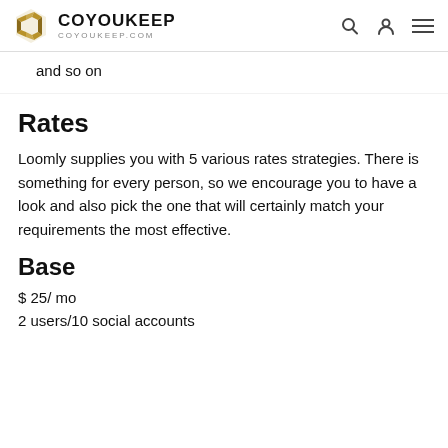COYOUKEEP | coyoukeep.com
and so on
Rates
Loomly supplies you with 5 various rates strategies. There is something for every person, so we encourage you to have a look and also pick the one that will certainly match your requirements the most effective.
Base
$ 25/ mo
2 users/10 social accounts